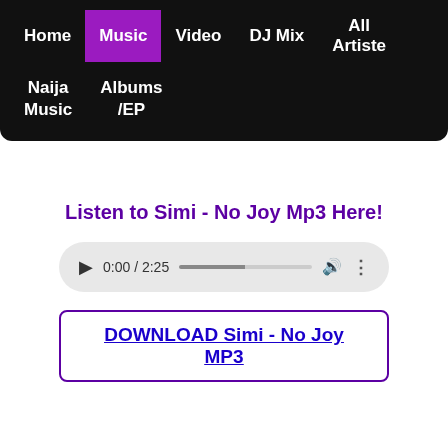Home | Music | Video | DJ Mix | All Artiste | Naija Music | Albums /EP
Listen to Simi - No Joy Mp3 Here!
[Figure (other): Audio player showing 0:00 / 2:25 with play button, progress bar, volume and menu controls]
DOWNLOAD Simi - No Joy MP3
Advertisement